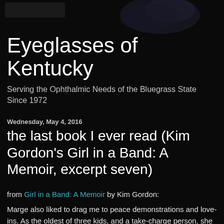[Figure (photo): Dark background with a faint silhouette map image at top of the page]
Eyeglasses of Kentucky
Serving the Ophthalmic Needs of the Bluegrass State Since 1972
Wednesday, May 4, 2016
the last book I ever read (Kim Gordon's Girl in a Band: A Memoir, excerpt seven)
from Girl in a Band: A Memoir by Kim Gordon:
Marge also liked to drag me to peace demonstrations and love-ins. As the oldest of three kids, and a take-charge person, she was far tougher and more grown-up than I was. On the surreal, shocking night Bobby Kennedy was shot, Marge had gone to the Ambassador Hotel to see him speak.